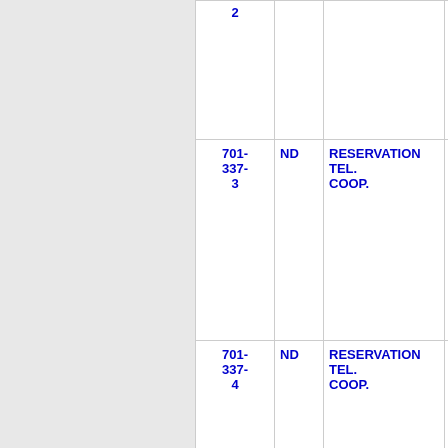| Phone | State | Name | Num |
| --- | --- | --- | --- |
| 2 |  |  |  |
| 701-337-3 | ND | RESERVATION TEL. COOP. | 1 |
| 701-337-4 | ND | RESERVATION TEL. COOP. | 1 |
| 701-337- | ND | RESERVATION TEL. COOP. | 1 |